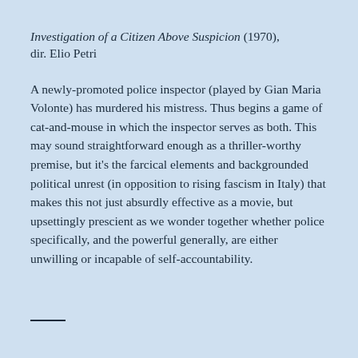Investigation of a Citizen Above Suspicion (1970), dir. Elio Petri
A newly-promoted police inspector (played by Gian Maria Volonte) has murdered his mistress. Thus begins a game of cat-and-mouse in which the inspector serves as both. This may sound straightforward enough as a thriller-worthy premise, but it's the farcical elements and backgrounded political unrest (in opposition to rising fascism in Italy) that makes this not just absurdly effective as a movie, but upsettingly prescient as we wonder together whether police specifically, and the powerful generally, are either unwilling or incapable of self-accountability.